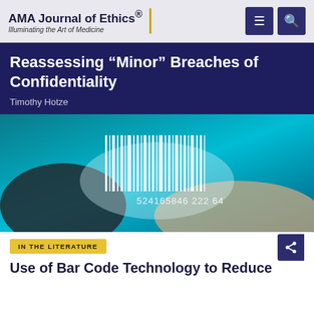AMA Journal of Ethics® Illuminating the Art of Medicine
Reassessing “Minor” Breaches of Confidentiality
Timothy Hotze
[Figure (photo): A hand holding a glowing barcode with the number 5241658461222164 displayed beneath it on a teal/blue background.]
IN THE LITERATURE
Use of Bar Code Technology to Reduce